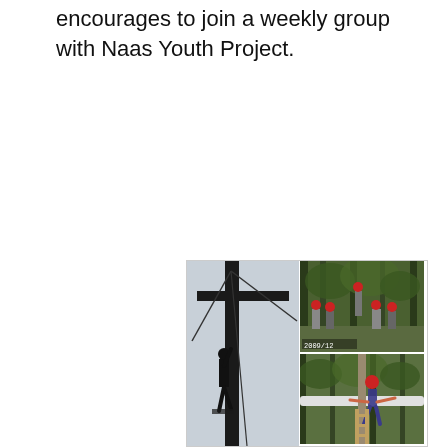encourages to join a weekly group with Naas Youth Project.
[Figure (photo): A collage of three photos showing youth outdoor activity: a large left image of a person silhouetted against the sky climbing a tall wooden pole with cables; top-right image shows a group of youths wearing red helmets in a forested area watching someone climb; bottom-right image shows a person in a red helmet climbing along a horizontal pole/beam in trees.]